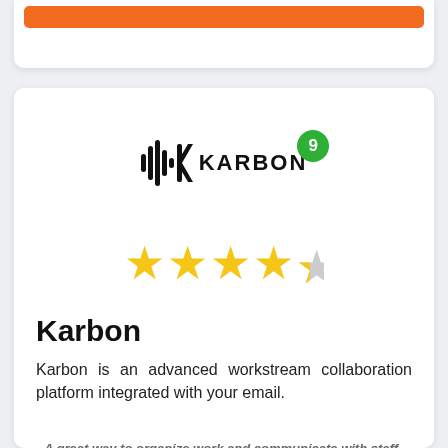[Figure (logo): Karbon logo with waveform icon and KARBON text, with green badge showing number 9]
[Figure (other): 4.5 star rating shown as 4 full gold stars and 1 half gold star]
Karbon
Karbon is an advanced workstream collaboration platform integrated with your email.
A great way to organize work and communicate with staff and clients - Max D.
Ease of use 7.8